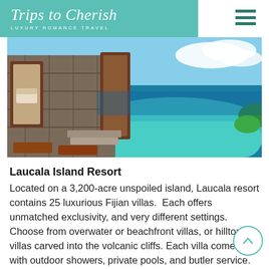Trips to Cherish — LUXURY ROMANCE TRAVEL
[Figure (photo): Luxury resort villa with stone walls and infinity pool overlooking blue ocean at Laucala Island Resort, Fiji]
Laucala Island Resort
Located on a 3,200-acre unspoiled island, Laucala resort contains 25 luxurious Fijian villas. Each offers unmatched exclusivity, and very different settings. Choose from overwater or beachfront villas, or hilltop villas carved into the volcanic cliffs. Each villa comes with outdoor sho[wers,] private pools, and butler service. Also featured is... Fiji Perfect...